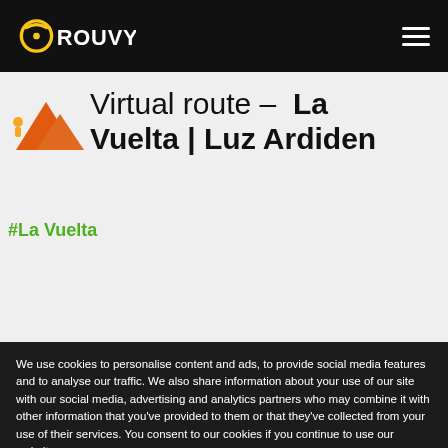ROUVY
Virtual route – La Vuelta | Luz Ardiden
#La Vuelta
[Figure (photo): Street-level photo of La Vuelta cycling race start area with green overlay and LA VUELTA banner sign]
We use cookies to personalise content and ads, to provide social media features and to analyse our traffic. We also share information about your use of our site with our social media, advertising and analytics partners who may combine it with other information that you've provided to them or that they've collected from your use of their services. You consent to our cookies if you continue to use our website.